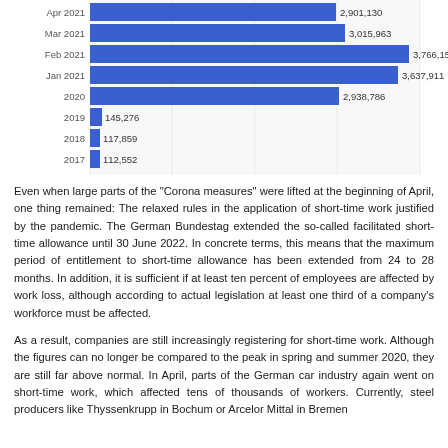[Figure (bar-chart): Short-time workers by year/month]
Even when large parts of the "Corona measures" were lifted at the beginning of April, one thing remained: The relaxed rules in the application of short-time work justified by the pandemic. The German Bundestag extended the so-called facilitated short-time allowance until 30 June 2022. In concrete terms, this means that the maximum period of entitlement to short-time allowance has been extended from 24 to 28 months. In addition, it is sufficient if at least ten percent of employees are affected by work loss, although according to actual legislation at least one third of a company's workforce must be affected.
As a result, companies are still increasingly registering for short-time work. Although the figures can no longer be compared to the peak in spring and summer 2020, they are still far above normal. In April, parts of the German car industry again went on short-time work, which affected tens of thousands of workers. Currently, steel producers like Thyssenkrupp in Bochum or Arcelor Mittal in Bremen